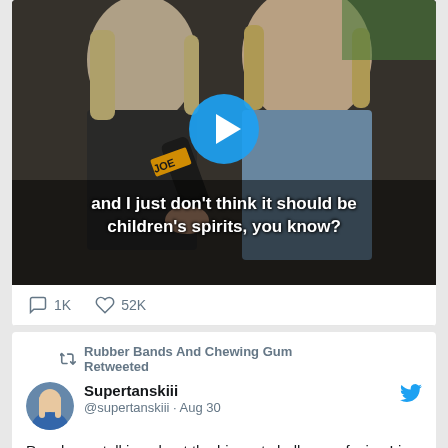[Figure (screenshot): Video thumbnail showing two women being interviewed with a JOE microphone, with a blue play button overlay. Video subtitle text reads: and I just don't think it should be children's spirits, you know?]
1K   52K
Rubber Bands And Chewing Gum Retweeted
Supertanskiii @supertanskiii · Aug 30
People are talking about the biggest challenges facing Liz Truss when she (inexplicably) becomes PM. I'd say her biggest challenge is